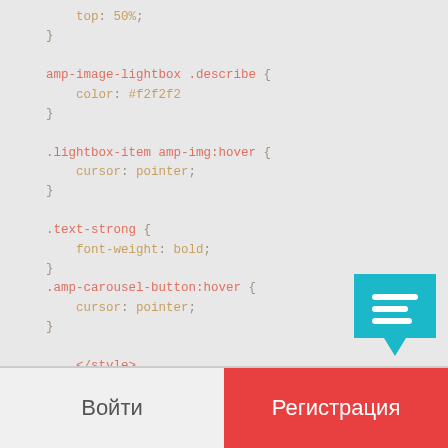top: 50%;
}

amp-image-lightbox .describe {
    color: #f2f2f2
}

.lightbox-item amp-img:hover {
    cursor: pointer;
}

.text-strong {
    font-weight: bold;
}
.amp-carousel-button:hover {
    cursor: pointer;
}

    </style>
</head>
[Figure (screenshot): Teal chat bubble button icon in bottom right corner]
Войти
Регистрация